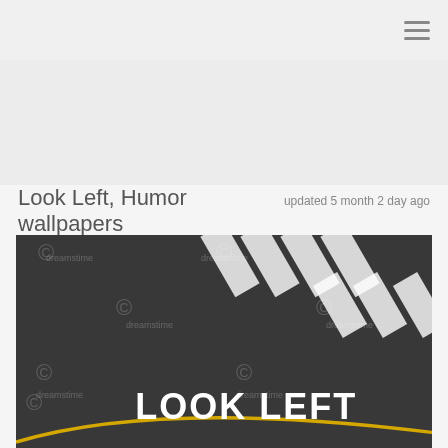≡ (hamburger menu icon)
Look Left, Humor wallpapers
updated 5 month 2 day ago
[Figure (photo): Street-level photo of dark asphalt road with white painted crosswalk stripes and large white painted text reading 'LOOK LEFT', with a yellow curve line, and multiple Dreamstime watermark copyright symbols overlaid]